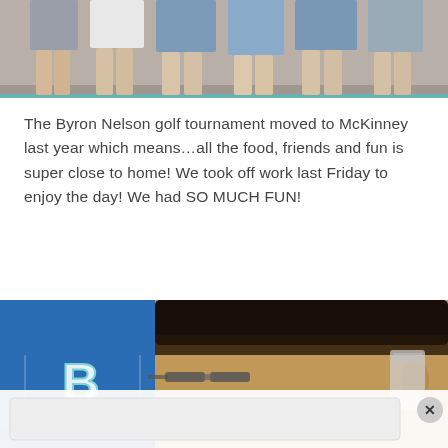[Figure (photo): Cropped photo showing the lower bodies of several people standing together wearing shorts, likely at an outdoor event.]
The Byron Nelson golf tournament moved to McKinney last year which means…all the food, friends and fun is super close to home!  We took off work last Friday to enjoy the day!  We had SO MUCH FUN!
[Figure (photo): Close-up selfie photo of two people: one wearing a blue baseball cap with a 'B' logo, and another wearing glasses, taken at what appears to be an outdoor event.]
[Figure (photo): Partially visible advertisement overlay at the bottom of the page with a close (X) button.]